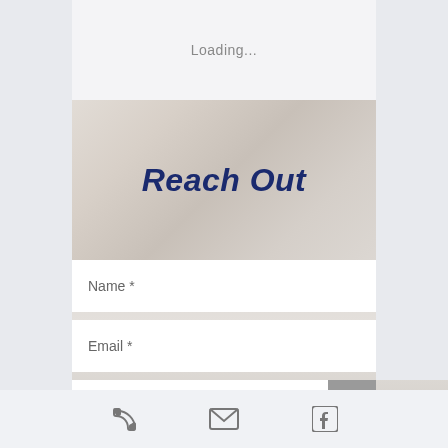Loading...
Reach Out
Name *
Email *
Comments *
[Figure (infographic): Footer bar with phone icon, email/envelope icon, and Facebook icon]